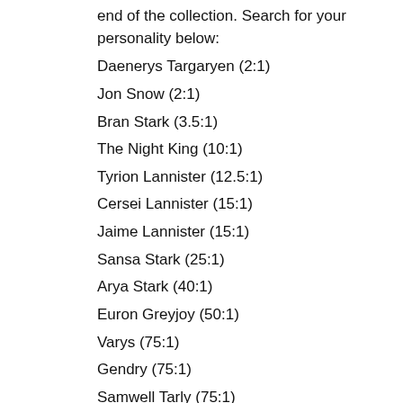end of the collection. Search for your personality below:
Daenerys Targaryen (2:1)
Jon Snow (2:1)
Bran Stark (3.5:1)
The Night King (10:1)
Tyrion Lannister (12.5:1)
Cersei Lannister (15:1)
Jaime Lannister (15:1)
Sansa Stark (25:1)
Arya Stark (40:1)
Euron Greyjoy (50:1)
Varys (75:1)
Gendry (75:1)
Samwell Tarly (75:1)
Melisandre (100:1)